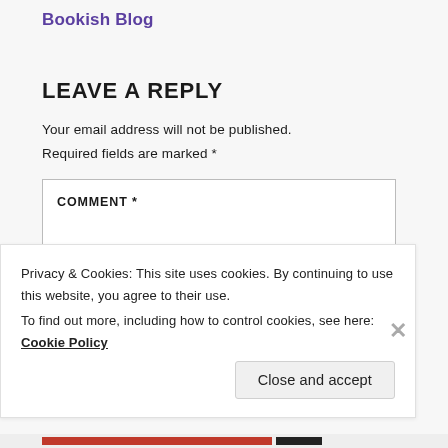Bookish Blog
LEAVE A REPLY
Your email address will not be published. Required fields are marked *
COMMENT *
Privacy & Cookies: This site uses cookies. By continuing to use this website, you agree to their use. To find out more, including how to control cookies, see here: Cookie Policy
Close and accept